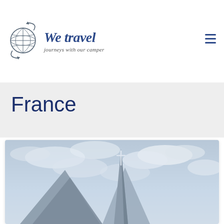[Figure (logo): We Travel logo: globe with circular arrows icon on the left, and cursive blue brand text 'We travel / journeys with our camper' on the right, with a hamburger menu icon in the top right corner]
France
[Figure (photo): Photograph of a church or cathedral steeple with a cross at the top against a cloudy blue-grey sky, with triangular grey rooftops visible at the bottom]